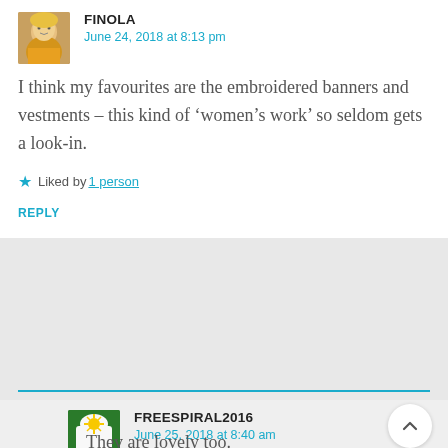[Figure (photo): Avatar photo of commenter Finola, showing a woman with a yellow top]
FINOLA
June 24, 2018 at 8:13 pm
I think my favourites are the embroidered banners and vestments – this kind of ‘women’s work’ so seldom gets a look-in.
★ Liked by 1 person
REPLY
[Figure (logo): Avatar icon for FREESPIRAL2016 showing a sunflower/dandelion on a green background with a white mug]
FREESPIRAL2016
June 25, 2018 at 8:40 am
They are lovely too.